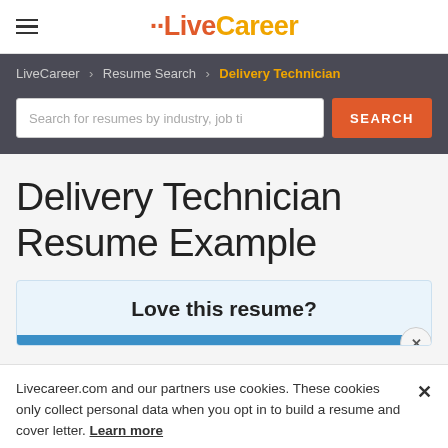LiveCareer
LiveCareer > Resume Search > Delivery Technician
Search for resumes by industry, job ti
Delivery Technician Resume Example
Love this resume?
Livecareer.com and our partners use cookies. These cookies only collect personal data when you opt in to build a resume and cover letter. Learn more